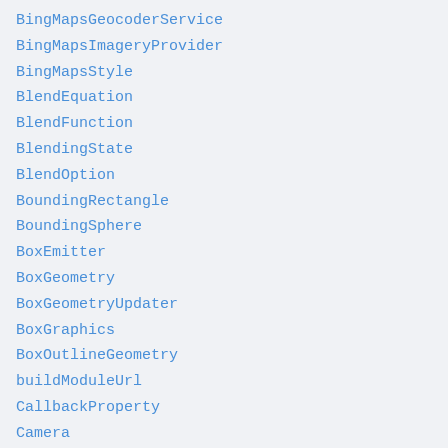BingMapsGeocoderService
BingMapsImageryProvider
BingMapsStyle
BlendEquation
BlendFunction
BlendingState
BlendOption
BoundingRectangle
BoundingSphere
BoxEmitter
BoxGeometry
BoxGeometryUpdater
BoxGraphics
BoxOutlineGeometry
buildModuleUrl
CallbackProperty
Camera
CameraEventAggregator
CameraEventType
cancelAnimationFrame